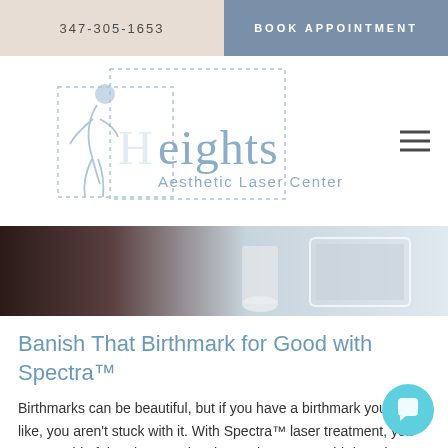347-305-1653 | BOOK APPOINTMENT
[Figure (logo): Heights Aesthetic Laser Center logo with stylized female figure silhouette and dotted geometric lines]
[Figure (photo): Close-up photo of a medical/aesthetic laser treatment device being held, with a tablet device visible in background]
Banish That Birthmark for Good with Spectra™
Birthmarks can be beautiful, but if you have a birthmark you don't like, you aren't stuck with it. With Spectra™ laser treatment, you can get rid of the pigmentation that makes up your birthmark.